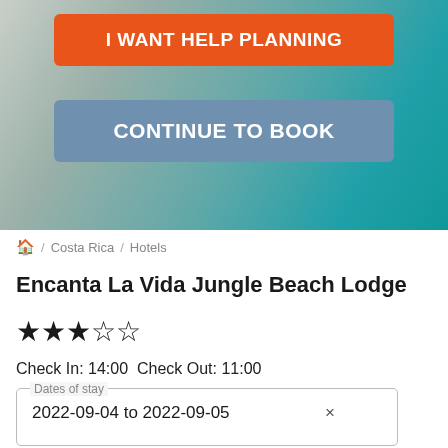[Figure (screenshot): Hero background image showing beach/water scene with teal and grey tones]
I WANT HELP PLANNING
CONTINUE TO BOOK
🏠 / Costa Rica / Hotels
Encanta La Vida Jungle Beach Lodge
★★★☆☆
Check In: 14:00  Check Out: 11:00
Dates of stay
2022-09-04 to 2022-09-05  ×